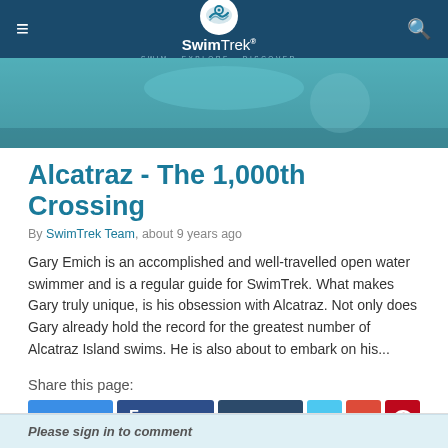SwimTrek — SWIM · EXPLORE · DISCOVER
[Figure (photo): Hero image showing a person near water, teal/turquoise tones]
Alcatraz - The 1,000th Crossing
By SwimTrek Team, about 9 years ago
Gary Emich is an accomplished and well-travelled open water swimmer and is a regular guide for SwimTrek. What makes Gary truly unique, is his obsession with Alcatraz. Not only does Gary already hold the record for the greatest number of Alcatraz Island swims. He is also about to embark on his…
Share this page:
@ EMAIL | FACEBOOK | t TUMBLR | Twitter | G+ | Pinterest
Please sign in to comment